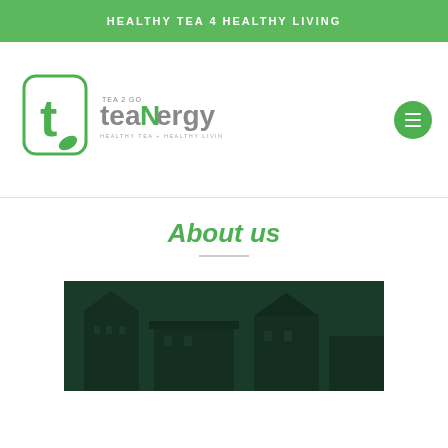HEALTHY TEA 4 HEALTHY LIVING
[Figure (logo): teaNergy Tea 2 Go logo — stylized green 't' letter with leaf in rounded square, beside 'teaNergy' wordmark with 'Tea 2 Go' and 'HEALTHY TEA + HEALTHY LIVING' tagline]
About us
[Figure (photo): Dark green photo of a building silhouette, dimly lit, with triangular roof shapes visible]